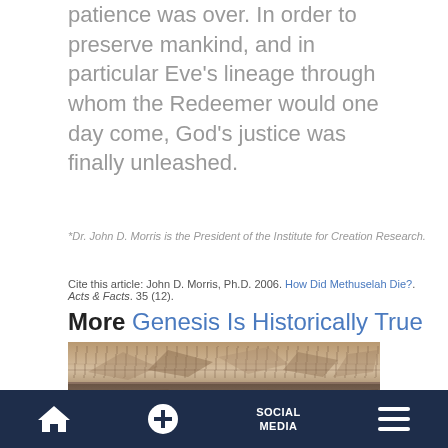patience was over. In order to preserve mankind, and in particular Eve's lineage through whom the Redeemer would one day come, God's justice was finally unleashed.
*Dr. John D. Morris is the President of the Institute for Creation Research.
Cite this article: John D. Morris, Ph.D. 2006. How Did Methuselah Die?. Acts & Facts. 35 (12).
More Genesis Is Historically True
[Figure (photo): Archaeological or geological photo showing rubble and rock layers, split into two horizontal bands with debris and stone fragments visible]